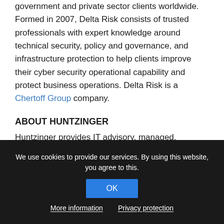government and private sector clients worldwide. Formed in 2007, Delta Risk consists of trusted professionals with expert knowledge around technical security, policy and governance, and infrastructure protection to help clients improve their cyber security operational capability and protect business operations. Delta Risk is a Chertoff Group company.
ABOUT HUNTZINGER
Huntzinger provides IT advisory, managed,
We use cookies to provide our services. By using this website, you agree to this.
OK
More information   Privacy protection